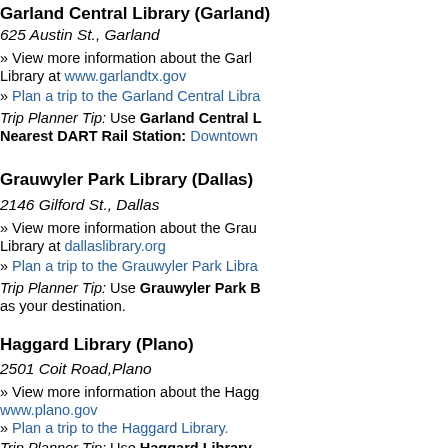Garland Central Library (Garland)
625 Austin St., Garland
» View more information about the Garland Central Library at www.garlandtx.gov
» Plan a trip to the Garland Central Library
Trip Planner Tip: Use Garland Central L... Nearest DART Rail Station: Downtown...
Grauwyler Park Library (Dallas)
2146 Gilford St., Dallas
» View more information about the Grauwyler Park Library at dallaslibrary.org
» Plan a trip to the Grauwyler Park Library
Trip Planner Tip: Use Grauwyler Park B... as your destination.
Haggard Library (Plano)
2501 Coit Road,Plano
» View more information about the Haggard Library at www.plano.gov
» Plan a trip to the Haggard Library.
Trip Planner Tip: Use Haggard Library...